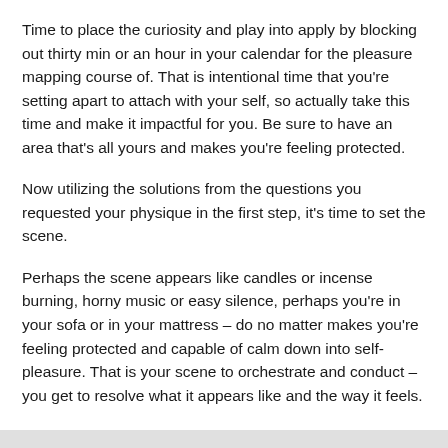Time to place the curiosity and play into apply by blocking out thirty min or an hour in your calendar for the pleasure mapping course of. That is intentional time that you're setting apart to attach with your self, so actually take this time and make it impactful for you. Be sure to have an area that's all yours and makes you're feeling protected.
Now utilizing the solutions from the questions you requested your physique in the first step, it's time to set the scene.
Perhaps the scene appears like candles or incense burning, horny music or easy silence, perhaps you're in your sofa or in your mattress – do no matter makes you're feeling protected and capable of calm down into self-pleasure. That is your scene to orchestrate and conduct – you get to resolve what it appears like and the way it feels.